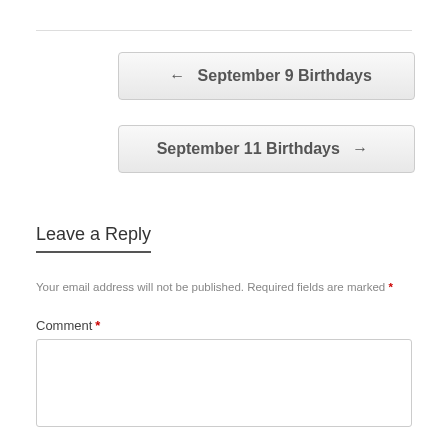← September 9 Birthdays
September 11 Birthdays →
Leave a Reply
Your email address will not be published. Required fields are marked *
Comment *